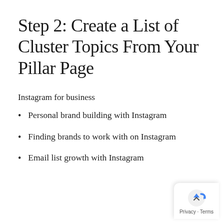Step 2: Create a List of Cluster Topics From Your Pillar Page
Instagram for business
Personal brand building with Instagram
Finding brands to work with on Instagram
Email list growth with Instagram